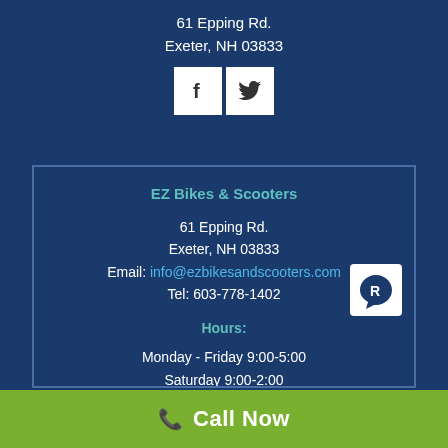61 Epping Rd.
Exeter, NH 03833
[Figure (other): Social media icons: Facebook (f) and Twitter (bird) in white square boxes]
EZ Bikes & Scooters
61 Epping Rd.
Exeter, NH 03833
Email: info@ezbikesandscooters.com
Tel: 603-778-1402
Hours:
Monday - Friday 9:00-5:00
Saturday 9:00-2:00
Closed Sunday
📞 Call Now